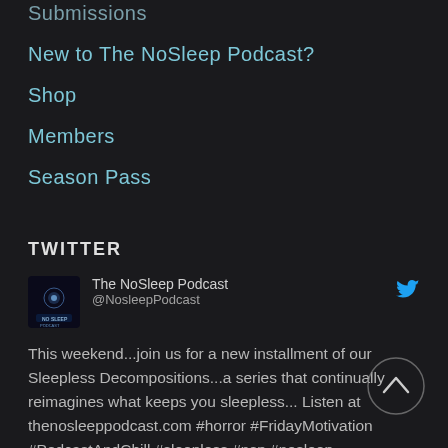Submissions
New to The NoSleep Podcast?
Shop
Members
Season Pass
TWITTER
The NoSleep Podcast @NosleepPodcast
This weekend...join us for a new installment of our Sleepless Decompositions...a series that continually reimagines what keeps you sleepless... Listen at thenosleeppodcast.com #horror #FridayMotivation #PodcastAndChill #sleepless #nsp #nosleep